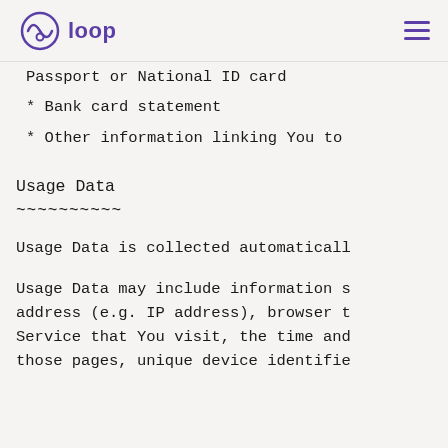loop
Passport or National ID card
* Bank card statement
* Other information linking You to
Usage Data
~~~~~~~~~~
Usage Data is collected automaticall
Usage Data may include information s address (e.g. IP address), browser t Service that You visit, the time and those pages, unique device identifie